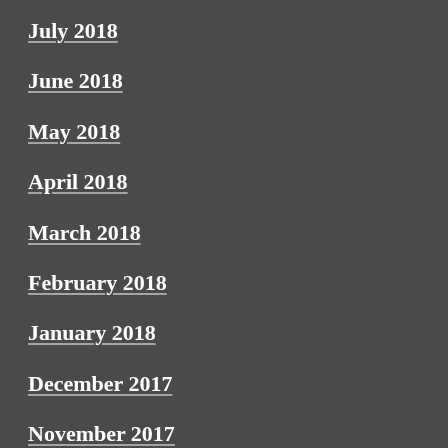July 2018
June 2018
May 2018
April 2018
March 2018
February 2018
January 2018
December 2017
November 2017
October 2017